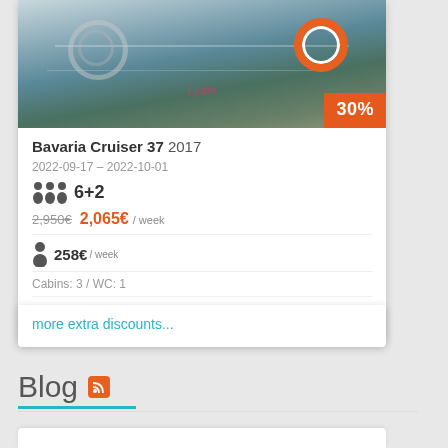[Figure (photo): Photo of Bavaria Cruiser 37 boat deck showing cockpit, lifering, and boat name Lydia written in cursive. Orange 30% discount badge in bottom right corner.]
Bavaria Cruiser 37 2017
2022-09-17 - 2022-10-01
6+2
2,950€ 2,065€/ week
258€/ week
Cabins: 3 / WC: 1
Athens
more extra discounts...
Blog